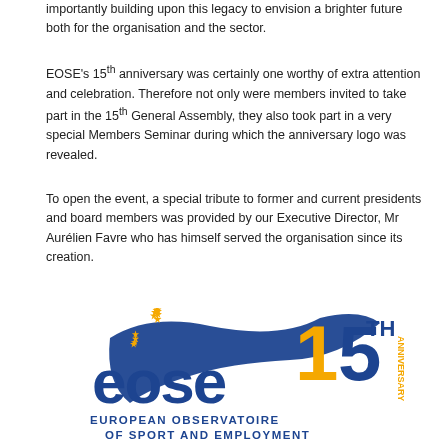importantly building upon this legacy to envision a brighter future both for the organisation and the sector.
EOSE's 15th anniversary was certainly one worthy of extra attention and celebration. Therefore not only were members invited to take part in the 15th General Assembly, they also took part in a very special Members Seminar during which the anniversary logo was revealed.
To open the event, a special tribute to former and current presidents and board members was provided by our Executive Director, Mr Aurélien Favre who has himself served the organisation since its creation.
[Figure (logo): EOSE 15th Anniversary logo showing the European Observatoire of Sport and Employment with a stylized wave design, European stars, and large '15TH ANNIVERSARY' text in orange and blue.]